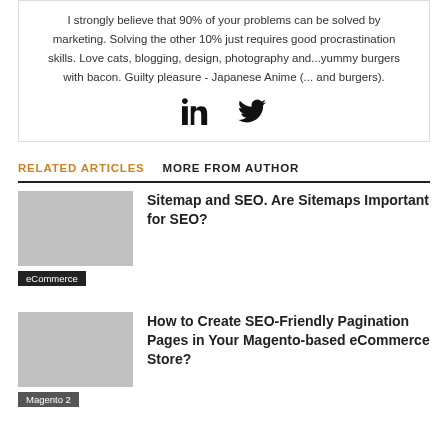I strongly believe that 90% of your problems can be solved by marketing. Solving the other 10% just requires good procrastination skills. Love cats, blogging, design, photography and...yummy burgers with bacon. Guilty pleasure - Japanese Anime (... and burgers).
[Figure (infographic): LinkedIn and Twitter social icons]
RELATED ARTICLES   MORE FROM AUTHOR
Sitemap and SEO. Are Sitemaps Important for SEO?
eCommerce
How to Create SEO-Friendly Pagination Pages in Your Magento-based eCommerce Store?
Magento 2